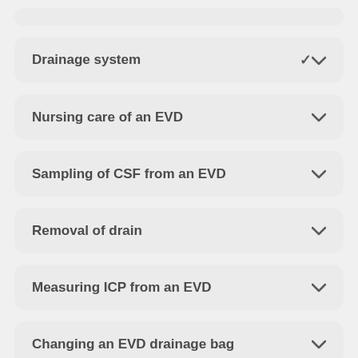Drainage system
Nursing care of an EVD
Sampling of CSF from an EVD
Removal of drain
Measuring ICP from an EVD
Changing an EVD drainage bag